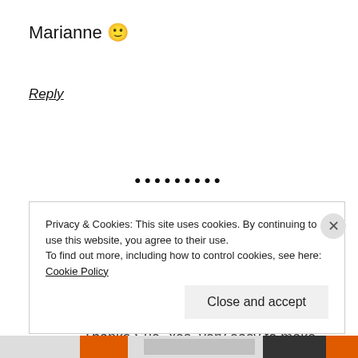Marianne 🙂
Reply
[Figure (other): Horizontal divider made of dots (bullet points)]
[Figure (photo): Avatar photo of Marianne — colorized portrait photo with yellow/blue/orange hues]
Marianne
July 18, 2013 at 9:19 pm
Thanks Sue. Yes, very easy to make
Privacy & Cookies: This site uses cookies. By continuing to use this website, you agree to their use. To find out more, including how to control cookies, see here: Cookie Policy
Close and accept